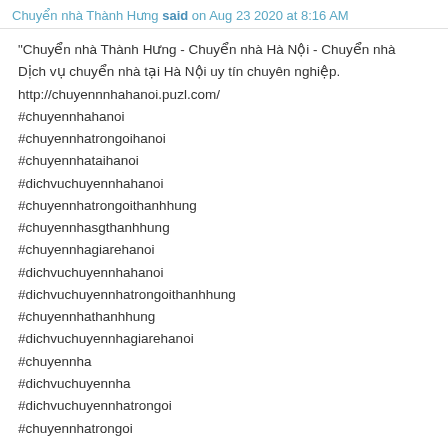Chuyển nhà Thành Hưng said on Aug 23 2020 at 8:16 AM
"Chuyển nhà Thành Hưng - Chuyển nhà Hà Nội - Chuyển nhà
Dịch vụ chuyển nhà tại Hà Nội uy tín chuyên nghiệp.
http://chuyennnhahanoi.puzl.com/
#chuyennhahanoi
#chuyennhatrongoihanoi
#chuyennhataihanoi
#dichvuchuyennhahanoi
#chuyennhatrongoithanhhung
#chuyennhasgthanhhung
#chuyennhagiarehanoi
#dichvuchuyennhahanoi
#dichvuchuyennhatrongoithanhhung
#chuyennhathanhhung
#dichvuchuyennhagiarehanoi
#chuyennha
#dichvuchuyennha
#dichvuchuyennhatrongoi
#chuyennhatrongoi